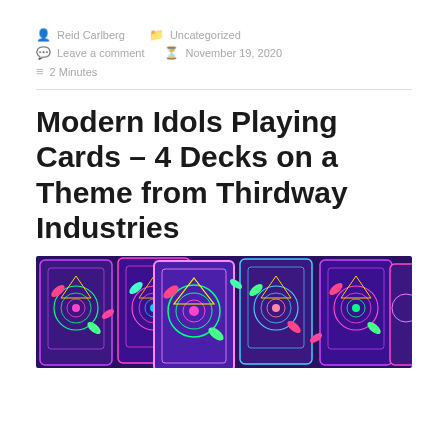Reid Carlberg   Uncategorized   Leave a comment   November 19, 2020   2 Minutes
Modern Idols Playing Cards – 4 Decks on a Theme from Thirdway Industries
[Figure (photo): Close-up photo of colorfully decorated playing cards with neon geometric patterns on a dark purple/blue background, showing multiple card backs spread out.]